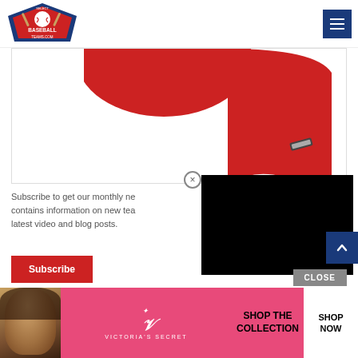[Figure (logo): SelectBaseballTeams.com logo with baseball imagery]
[Figure (photo): Red baseball jersey product images - top portion visible]
Subscribe to get our monthly newsletter which contains information on new team gear, the latest video and blog posts.
[Figure (other): Black video/popup overlay with close (X) button]
[Figure (other): Scroll to top button (blue, arrow up)]
CLOSE
[Figure (photo): Victoria's Secret advertisement banner with model photo, VS logo, 'SHOP THE COLLECTION', and 'SHOP NOW' button]